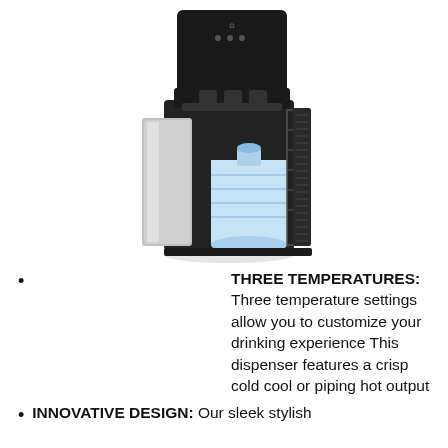[Figure (photo): A black and stainless steel bottom-loading water dispenser/cooler with a large blue 5-gallon water bottle visible in the lower compartment through an open door panel. The unit has a black top section with indicator lights and dispensing area in the middle.]
THREE TEMPERATURES: Three temperature settings allow you to customize your drinking experience This dispenser features a crisp cold cool or piping hot output
INNOVATIVE DESIGN: Our sleek stylish